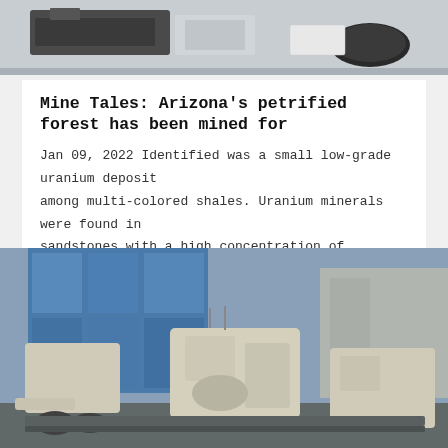[Figure (photo): Top photo showing industrial mining equipment on a gray background — black metal frames and cylindrical components visible against a light background.]
Mine Tales: Arizona's petrified forest has been mined for
Jan 09, 2022 Identified was a small low-grade uranium deposit among multi-colored shales. Uranium minerals were found in sandstones with a high concentration of carbonaceous plant...
[Figure (photo): Large industrial mining/crushing machinery — cream/beige colored heavy equipment with multiple units, set against a background of blue glass-paneled modern buildings and a concrete building.]